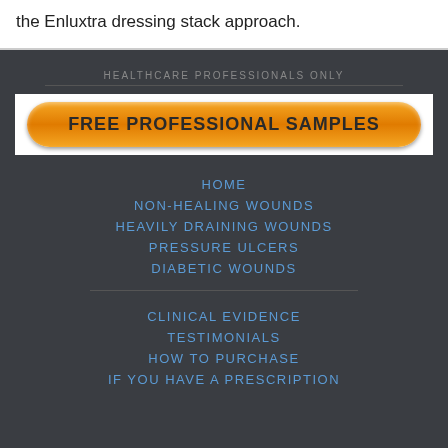the Enluxtra dressing stack approach.
HEALTHCARE PROFESSIONALS ONLY
[Figure (other): Orange rounded button labeled FREE PROFESSIONAL SAMPLES on white banner background]
HOME
NON-HEALING WOUNDS
HEAVILY DRAINING WOUNDS
PRESSURE ULCERS
DIABETIC WOUNDS
CLINICAL EVIDENCE
TESTIMONIALS
HOW TO PURCHASE
IF YOU HAVE A PRESCRIPTION